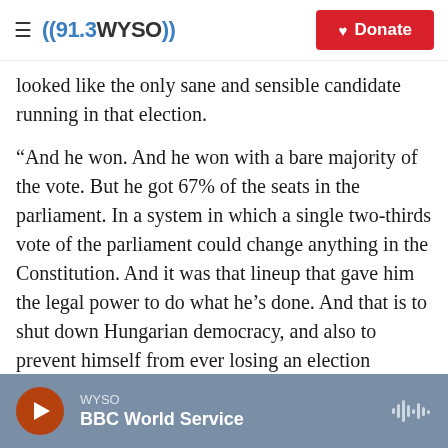((91.3 WYSO)) Donate
looked like the only sane and sensible candidate running in that election.
“And he won. And he won with a bare majority of the vote. But he got 67% of the seats in the parliament. In a system in which a single two-thirds vote of the parliament could change anything in the Constitution. And it was that lineup that gave him the legal power to do what he’s done. And that is to shut down Hungarian democracy, and also to prevent himself from ever losing an election again.”
On Orban’s political ideology
WYSO  BBC World Service